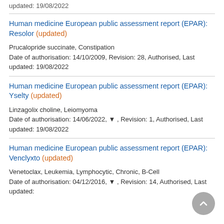updated: 19/08/2022
Human medicine European public assessment report (EPAR): Resolor (updated)
Prucalopride succinate, Constipation
Date of authorisation: 14/10/2009, Revision: 28, Authorised, Last updated: 19/08/2022
Human medicine European public assessment report (EPAR): Yselty (updated)
Linzagolix choline, Leiomyoma
Date of authorisation: 14/06/2022, ▼ , Revision: 1, Authorised, Last updated: 19/08/2022
Human medicine European public assessment report (EPAR): Venclyxto (updated)
Venetoclax, Leukemia, Lymphocytic, Chronic, B-Cell
Date of authorisation: 04/12/2016, ▼ , Revision: 14, Authorised, Last updated: